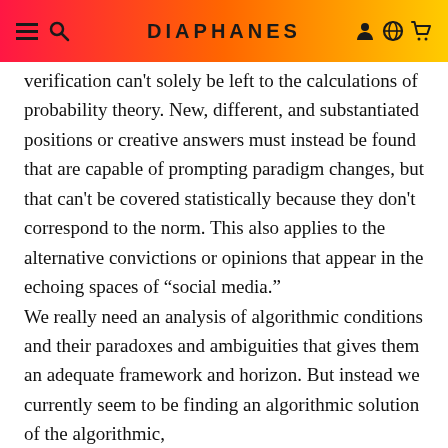DIAPHANES
verification can't solely be left to the calculations of probability theory. New, different, and substantiated positions or creative answers must instead be found that are capable of prompting paradigm changes, but that can't be covered statistically because they don't correspond to the norm. This also applies to the alternative convictions or opinions that appear in the echoing spaces of “social media.” We really need an analysis of algorithmic conditions and their paradoxes and ambiguities that gives them an adequate framework and horizon. But instead we currently seem to be finding an algorithmic solution of the algorithmic,